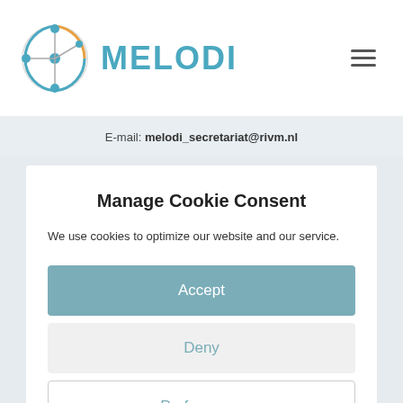[Figure (logo): MELODI logo with network/molecule icon in blue and orange, and text MELODI in teal]
E-mail: melodi_secretariat@rivm.nl
Manage Cookie Consent
We use cookies to optimize our website and our service.
Accept
Deny
Preferences